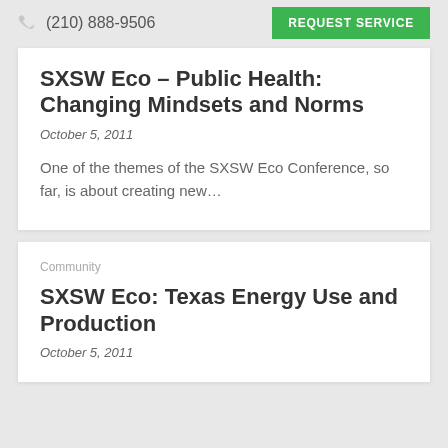(210) 888-9506  REQUEST SERVICE
SXSW Eco – Public Health: Changing Mindsets and Norms
October 5, 2011
One of the themes of the SXSW Eco Conference, so far, is about creating new…
Community
SXSW Eco: Texas Energy Use and Production
October 5, 2011